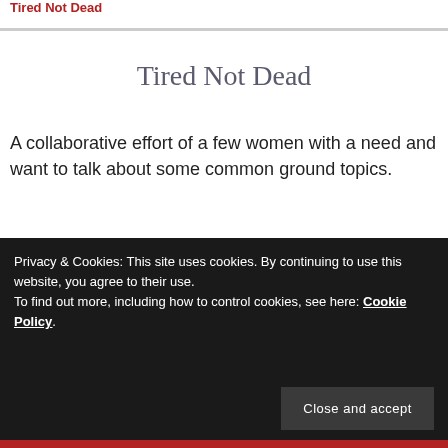Tired Not Dead
Tired Not Dead
A collaborative effort of a few women with a need and want to talk about some common ground topics.
Copyright 2020
Privacy & Cookies: This site uses cookies. By continuing to use this website, you agree to their use.
To find out more, including how to control cookies, see here: Cookie Policy
Close and accept